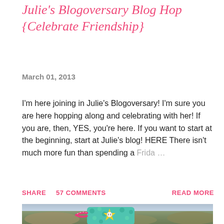Julie's Blogoversary Blog Hop {Celebrate Friendship}
March 01, 2013
I'm here joining in Julie's Blogoversary!  I'm sure you are here hopping along and celebrating with her! If you are, then, YES, you're here. If you want to start at the beginning, start at Julie's blog! HERE There isn't much more fun than spending a Frida …
SHARE   57 COMMENTS   READ MORE
[Figure (photo): A colorful craft tag or ornament with a yellow flower shape, teal polka-dot background, white button center, and pink ribbon, placed on an outdoor rocky/natural surface.]